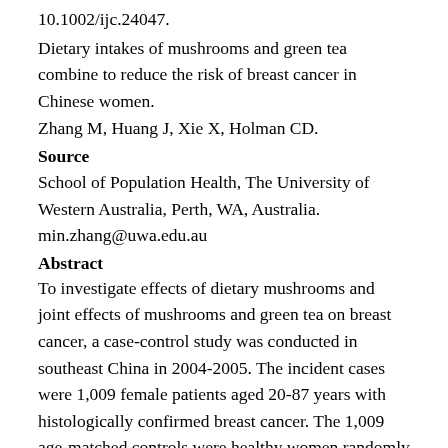10.1002/ijc.24047.
Dietary intakes of mushrooms and green tea combine to reduce the risk of breast cancer in Chinese women.
Zhang M, Huang J, Xie X, Holman CD.
Source
School of Population Health, The University of Western Australia, Perth, WA, Australia. min.zhang@uwa.edu.au
Abstract
To investigate effects of dietary mushrooms and joint effects of mushrooms and green tea on breast cancer, a case-control study was conducted in southeast China in 2004-2005. The incident cases were 1,009 female patients aged 20-87 years with histologically confirmed breast cancer. The 1,009 age-matched controls were healthy women randomly recruited from outpatient breast clinics. Information on